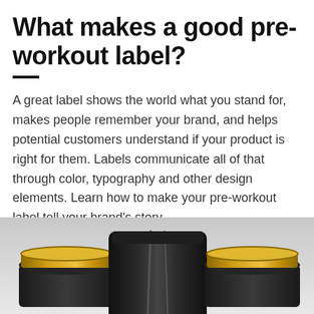What makes a good pre-workout label?
A great label shows the world what you stand for, makes people remember your brand, and helps potential customers understand if your product is right for them. Labels communicate all of that through color, typography and other design elements. Learn how to make your pre-workout label tell your brand's story.
[Figure (photo): Three black supplement containers with gold lids arranged on a light grey background — a smaller jar on the left, a tall bag/pouch in the center, and another jar on the right, all partially cropped at the bottom of the page.]